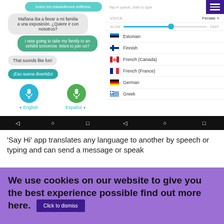[Figure (screenshot): Screenshot of 'Say Hi' translation app showing two phone panels: left panel has chat bubbles with Spanish/English translation conversation and microphone buttons for English and Español; right panel shows voice settings (Female), speed slider, and a language list including Estonian, Finnish, French (Canada), French (France), German, Greek with a purple menu button in top right corner.]
'Say Hi' app translates any language to another by speech or typing and can send a message or speak
We use cookies on our website to give you the best experience possible find out more here.
Click to dismiss